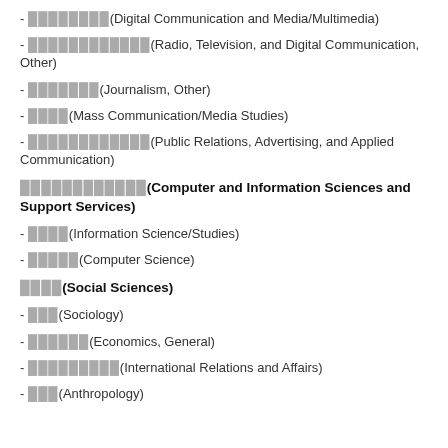- ████████(Digital Communication and Media/Multimedia)
- ████████████(Radio, Television, and Digital Communication, Other)
- ███████(Journalism, Other)
- ████(Mass Communication/Media Studies)
- ████████████(Public Relations, Advertising, and Applied Communication)
████████████(Computer and Information Sciences and Support Services)
- ████(Information Science/Studies)
- █████(Computer Science)
████(Social Sciences)
- ███(Sociology)
- ██████(Economics, General)
- █████████(International Relations and Affairs)
- ███(Anthropology)